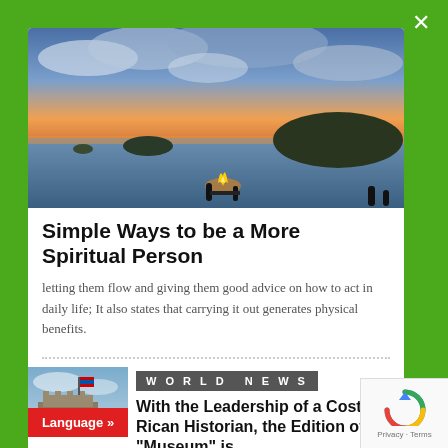[Figure (photo): Sunset over ocean with rocky islands, silhouettes of people around a fire in the foreground]
Simple Ways to be a More Spiritual Person
letting them flow and giving them good advice on how to act in daily life; It also states that carrying it out generates physical benefits.
[Figure (photo): Thumbnail photo of a building with flags]
WORLD NEWS
With the Leadership of a Costa Rican Historian, the Edition of "Museum" is